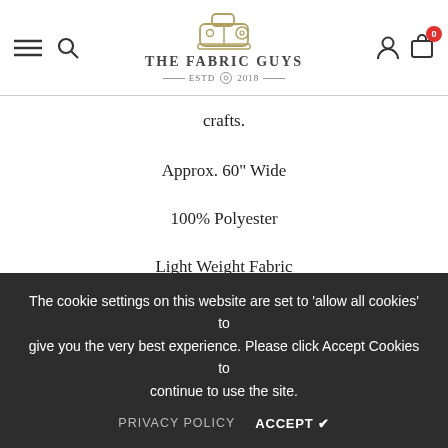THE FABRIC GUYS — ESTD 2018
crafts.
Approx. 60" Wide
100% Polyester
Light Weight Fabric
Sold Per 3 Metres
No Stretch.
All Orders will be supplied in a continuous measure unless stated otherwise.
More Quantity is available in all variations. Simply send us a message and
The cookie settings on this website are set to 'allow all cookies' to give you the very best experience. Please click Accept Cookies to continue to use the site.